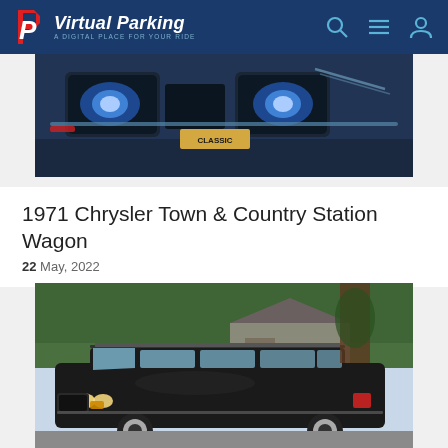Virtual Parking — A DIGITAL PLACE FOR YOUR RIDE
[Figure (photo): Close-up of a blue classic car front end, showing headlights, grille, and a partial license plate]
1971 Chrysler Town & Country Station Wagon
22 May, 2022
[Figure (photo): A black 1971 Chrysler Town & Country station wagon parked in a suburban neighborhood driveway, front 3/4 view, with houses and trees in the background]